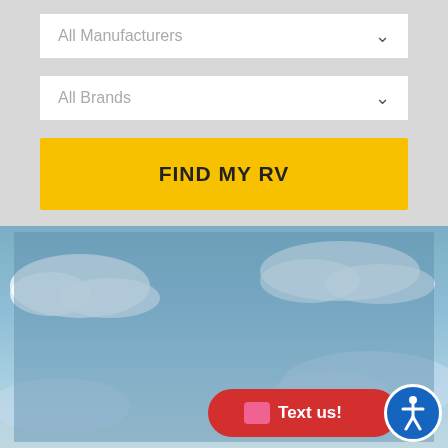[Figure (screenshot): Dropdown selector labeled 'All Manufacturers' with chevron arrow]
[Figure (screenshot): Dropdown selector labeled 'All Brands' with chevron arrow]
[Figure (screenshot): Yellow button labeled 'FIND MY RV']
SHOP BY FLOORPLAN
[Figure (screenshot): White pill button labeled 'Bunk House']
[Figure (screenshot): White pill button labeled 'Front Kitchen']
[Figure (screenshot): Red 'Text us!' pill button and blue accessibility icon in bottom right corner]